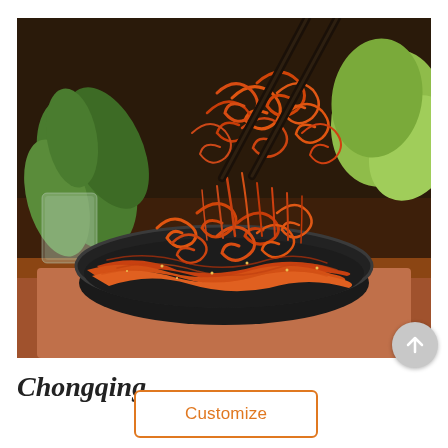[Figure (photo): Close-up photo of spicy shredded food (possibly dried chili strips or spiced konjac/kelp strips) in a dark ceramic bowl, being lifted with black chopsticks. Green leaves visible in the background on a wooden surface.]
Chongqing
Customize